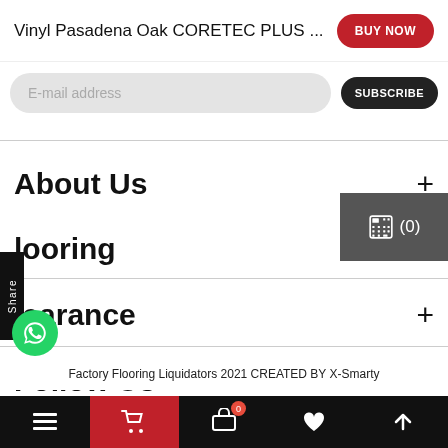Vinyl Pasadena Oak CORETEC PLUS ...
E-mail address
SUBSCRIBE
About Us
looring
learance
Follow Us
Factory Flooring Liquidators 2021 CREATED BY X-Smarty